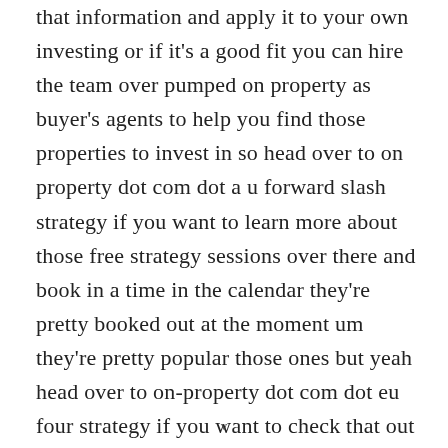that information and apply it to your own investing or if it's a good fit you can hire the team over pumped on property as buyer's agents to help you find those properties to invest in so head over to on property dot com dot a u forward slash strategy if you want to learn more about those free strategy sessions over there and book in a time in the calendar they're pretty booked out at the moment um they're pretty popular those ones but yeah head over to on-property dot com dot eu four strategy if you want to check that out we wish you the best in your
v